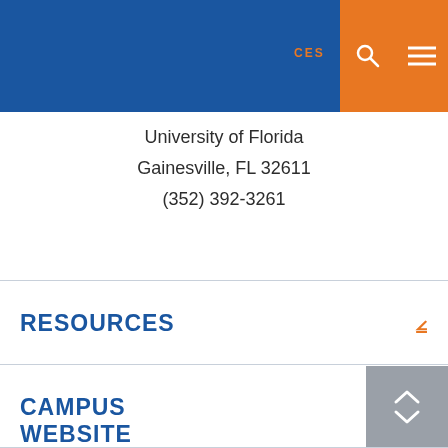CES
University of Florida
Gainesville, FL 32611
(352) 392-3261
RESOURCES
CAMPUS
WEBSITE